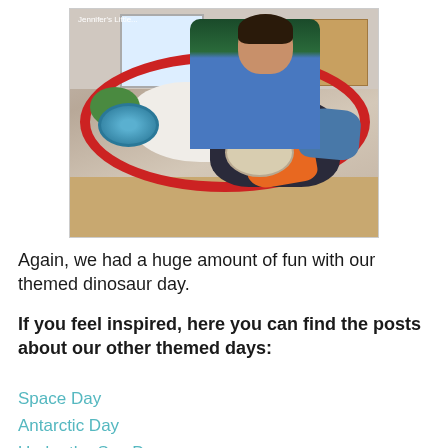[Figure (photo): A child playing with a dinosaur-themed sensory tray containing sand, colored rice, small dinosaur figures, a miniature volcano, and a blue circular dish. The tray has a red border. The photo has a watermark reading 'Jennifer's Little...']
Again, we had a huge amount of fun with our themed dinosaur day.
If you feel inspired, here you can find the posts about our other themed days:
Space Day
Antarctic Day
Under the Sea Day